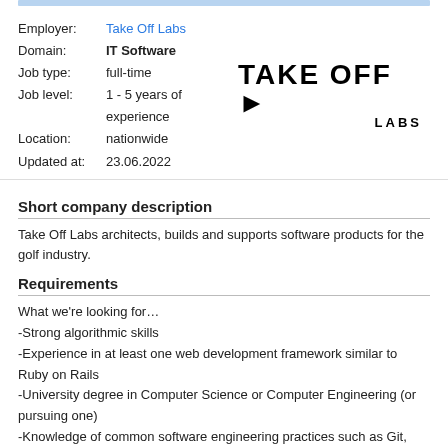| Employer: | Take Off Labs |
| Domain: | IT Software |
| Job type: | full-time |
| Job level: | 1 - 5 years of experience |
| Location: | nationwide |
| Updated at: | 23.06.2022 |
[Figure (logo): Take Off Labs logo with bold black text and rocket icon]
Short company description
Take Off Labs architects, builds and supports software products for the golf industry.
Requirements
What we're looking for…
-Strong algorithmic skills
-Experience in at least one web development framework similar to Ruby on Rails
-University degree in Computer Science or Computer Engineering (or pursuing one)
-Knowledge of common software engineering practices such as Git, code documentation, continuous integration